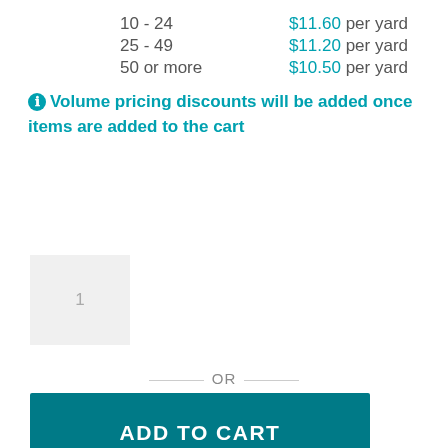| Quantity | Price |
| --- | --- |
| 10 - 24 | $11.60 per yard |
| 25 - 49 | $11.20 per yard |
| 50 or more | $10.50 per yard |
Volume pricing discounts will be added once items are added to the cart
1
— OR —
ADD TO CART